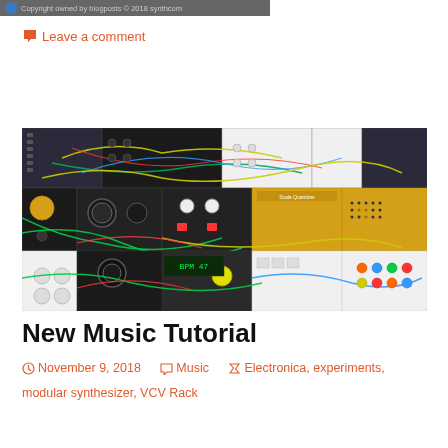Copyright owned by blogposts © 2018 synthcom
Leave a comment
[Figure (screenshot): Screenshot of VCV Rack modular synthesizer software showing a complex patch with many modules, knobs, and patch cables in various colors (yellow, green, red, blue) connecting modules on a dark background with some yellow modules visible.]
New Music Tutorial
November 9, 2018   Music   Electronica, experiments, modular synthesizer, VCV Rack